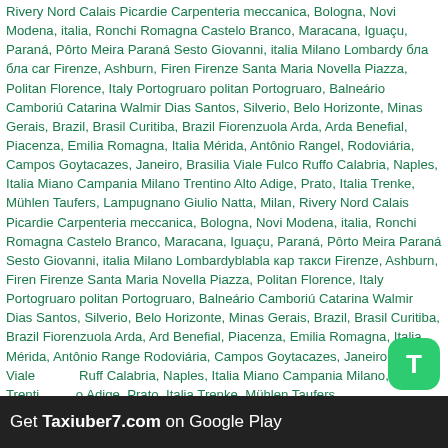Rivery Nord Calais Picardie Carpenteria meccanica, Bologna, Novi Modena, italia, Ronchi Romagna Castelo Branco, Maracana, Iguaçu, Paraná, Pôrto Meira Paraná Sesto Giovanni, italia Milano Lombardy бла бла car Firenze, Ashburn, Firen Firenze Santa Maria Novella Piazza, Politan Florence, Italy Portogruaro politan Portogruaro, Balneário Camboriú Catarina Walmir Dias Santos, Silverio, Belo Horizonte, Minas Gerais, Brazil, Brasil Curitiba, Brazil Fiorenzuola Arda, Arda Benefial, Piacenza, Emilia Romagna, Italia Mérida, Antônio Rangel, Rodoviária, Campos Goytacazes, Janeiro, Brasilia Viale Fulco Ruffo Calabria, Naples, Italia Miano Campania Milano Trentino Alto Adige, Prato, Italia Trenke, Mühlen Taufers, Lampugnano Giulio Natta, Milan, Rivery Nord Calais Picardie Carpenteria meccanica, Bologna, Novi Modena, italia, Ronchi Romagna Castelo Branco, Maracana, Iguaçu, Paraná, Pôrto Meira Paraná Sesto Giovanni, italia Milano Lombardyblabla кар такси Firenze, Ashburn, Firen Firenze Santa Maria Novella Piazza, Politan Florence, Italy Portogruaro politan Portogruaro, Balneário Camboriú Catarina Walmir Dias Santos, Silverio, Belo Horizonte, Minas Gerais, Brazil, Brasil Curitiba, Brazil Fiorenzuola Arda, Ard Benefial, Piacenza, Emilia Romagna, Italia Mérida, Antônio Range Rodoviária, Campos Goytacazes, Janeiro, Brasilia Viale Ruff Calabria, Naples, Italia Miano Campania Milano, Trenti o Adige, Prato, Italia Trenke, Mühlen Taufers, Lampugnan ulio Natta, Milan, Rivery Nord Calais Picardie Carpenteria meccanica, Romani Castelo Branco, Maracana, Iguaçu, Paraná, Pôrto Meira Paraná Sesto Giovanni, ita
[Figure (other): App icon: green rounded rectangle with white letter T]
Get Taxiuber7.com on Google Play